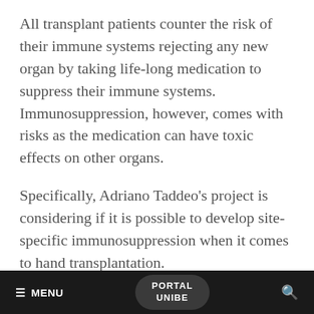All transplant patients counter the risk of their immune systems rejecting any new organ by taking life-long medication to suppress their immune systems. Immunosuppression, however, comes with risks as the medication can have toxic effects on other organs.
Specifically, Adriano Taddeo's project is considering if it is possible to develop site-specific immunosuppression when it comes to hand transplantation.
It will focus on whether the lymphatic system can be exploited to reduce the need for
≡ MENU   PORTAL UNIBE   🔍